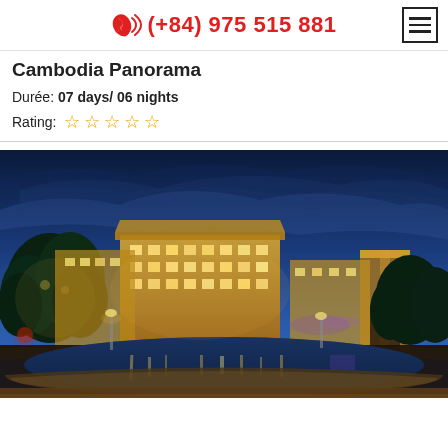(+84) 975 515 881
Cambodia Panorama
Durée: 07 days/ 06 nights
Rating: ☆ ☆ ☆ ☆ ☆
[Figure (photo): Nighttime panoramic photo of a luxury hotel resort with illuminated buildings reflected in a large pool, surrounded by tropical trees under a dramatic blue twilight sky]